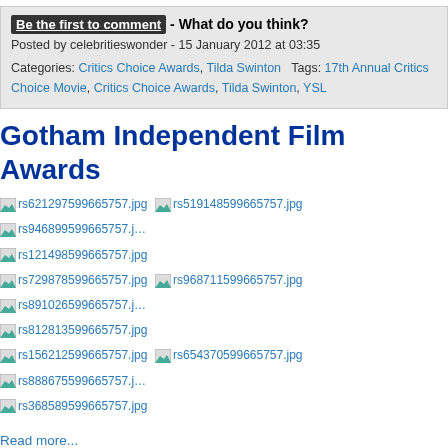Be the first to comment - What do you think?
Posted by celebritieswonder - 15 January 2012 at 03:35
Categories: Critics Choice Awards, Tilda Swinton  Tags: 17th Annual Critics Choice Movie, Critics Choice Awards, Tilda Swinton, YSL
Gotham Independent Film Awards
[Figure (other): Grid of image thumbnails with filenames: rs621297599665757.jpg, rs519148599665757.jpg, rs946899599665757.jpg, rs121498599665757.jpg, rs729878599665757.jpg, rs968711599665757.jpg, rs891026599665757.jpg, rs812813599665757.jpg, rs156212599665757.jpg, rs654370599665757.jpg, rs888675599665757.jpg, rs368589599665757.jpg]
Read more...
Be the first to comment - What do you think?
Posted by celebritieswonder - 29 November 2011 at 18:21
Categories: Charlize Theron, Elizabeth Olsen, Felicity Jones, Jennifer Carpenter, Lake Bell, Vera Farmiga  Tags: Chagoury Couture, Charlize Theron, Edie Falco, Elizabeth Olsen, Felicity Jones, Gucci, Haider Ackermann, Jennifer Carpenter, Judy Greer, Lake Bell, Marc Jacobs, Proenza Schouler, Shailene Woodley, Tilda Swinton, Valentino, Vera Farmiga
Vertu Global Launch Of The Constellation
[Figure (other): Bottom image thumbnails: rs6677391007069021.jpg, rs1702561007069021.jpg, rs22E4541007069021.jpg]